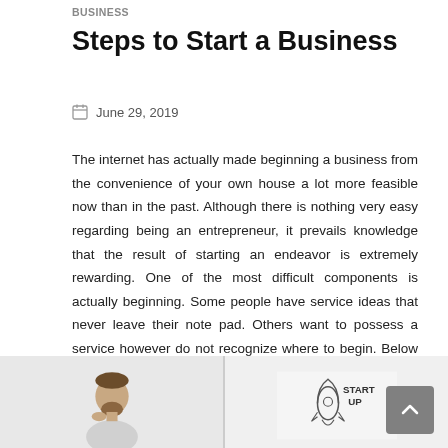BUSINESS
Steps to Start a Business
June 29, 2019
The internet has actually made beginning a business from the convenience of your own house a lot more feasible now than in the past. Although there is nothing very easy regarding being an entrepreneur, it prevails knowledge that the result of starting an endeavor is extremely rewarding. One of the most difficult components is actually beginning. Some people have service ideas that never leave their note pad. Others want to possess a service however do not recognize where to begin. Below are some steps to absorb your very early drawing board.
[Figure (photo): Two images at the bottom: left shows a man thinking, right shows a startup rocket sketch with 'START UP' text]